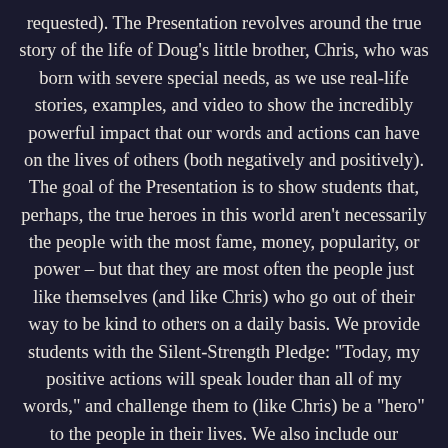requested). The Presentation revolves around the true story of the life of Doug's little brother, Chris, who was born with severe special needs, as we use real-life stories, examples, and video to show the incredibly powerful impact that our words and actions can have on the lives of others (both negatively and positively). The goal of the Presentation is to show students that, perhaps, the true heroes in this world aren't necessarily the people with the most fame, money, popularity, or power – but that they are most often the people just like themselves (and like Chris) who go out of their way to be kind to others on a daily basis. We provide students with the Silent-Strength Pledge: "Today, my positive actions will speak louder than all of my words," and challenge them to (like Chris) be a "hero" to the people in their lives. We also include our YouUplift Kindness eWall platform, as a supplemental tool for everyone to use in order to "walk the walk" after we "talk the talk"...